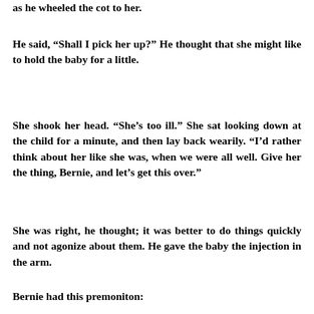as he wheeled the cot to her.
He said, “Shall I pick her up?” He thought that she might like to hold the baby for a little.
She shook her head. “She’s too ill.” She sat looking down at the child for a minute, and then lay back wearily. “I’d rather think about her like she was, when we were all well. Give her the thing, Bernie, and let’s get this over.”
She was right, he thought; it was better to do things quickly and not agonize about them. He gave the baby the injection in the arm.
Bernie had this premoniton: